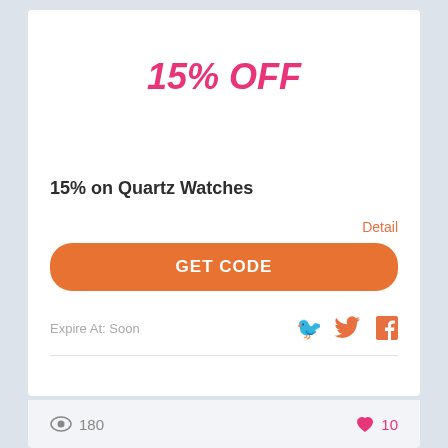15% OFF
15% on Quartz Watches
Detail
GET CODE
Expire At: Soon
180
10